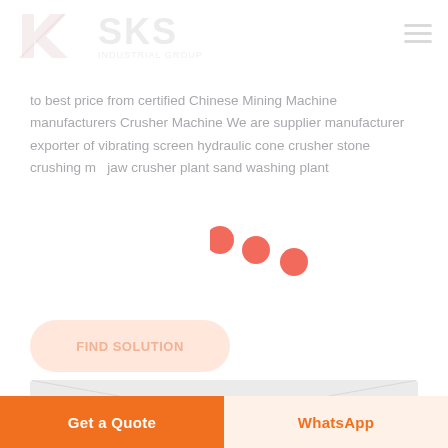[Figure (logo): SKS Industrial Group logo with K letterform graphic, faded/watermark style]
to best price from certified Chinese Mining Machine manufacturers Crusher Machine We are supplier manufacturer exporter of vibrating screen hydraulic cone crusher stone crushing m... jaw crusher plant sand washing plant
[Figure (other): Three red loading dots (spinner animation) overlaid on the text]
[Figure (other): Faded button area with orange rounded rectangle]
[Figure (photo): Partially visible machinery/crusher equipment image at bottom of page]
Get a Quote
WhatsApp